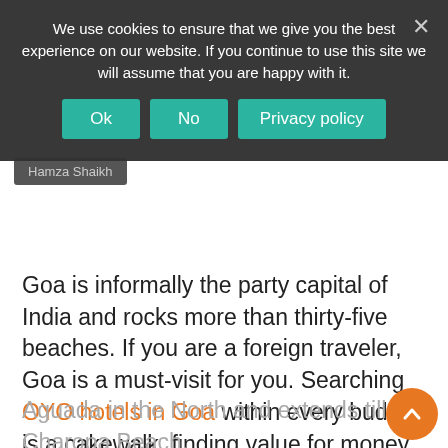We use cookies to ensure that we give you the best experience on our website. If you continue to use this site we will assume that you are happy with it.
Ok | No | Privacy policy
Hamza Shaikh
Goa is informally the party capital of India and rocks more than thirty-five beaches. If you are a foreign traveler, Goa is a must-visit for you. Searching OYO hotels in Goa within every budget is a cakewalk, finding value for money accommodation comes easy and convenient. If you are a fan of quieter places and find bliss in solitude, then Candolim Beach offers an unparalleled experience. Being one of the most beautiful beaches in Goa, this three-kilometer straight beach starts with Fort
Aguada in the North and extends till the Charopa Beach.